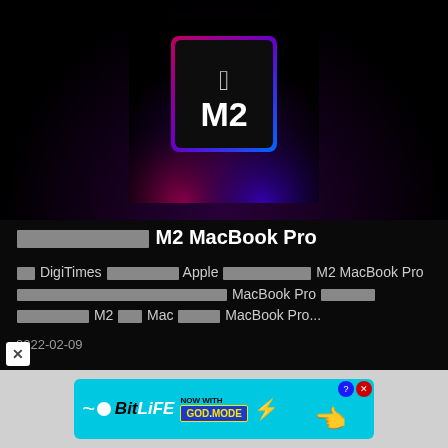[Figure (logo): Apple M2 chip promotional image: dark background with pink-red and purple-blue gradient glow, black chip square in center with Apple logo and M2 text in white]
██████████ M2 MacBook Pro
██ DigiTimes ████████ Apple ███████████ M2 MacBook Pro████████████████████████████ MacBook Pro ███████ █████████ M2 ███ Mac █████ MacBook Pro...
2022-02-09
[Figure (infographic): BitLife advertisement banner: cyan/light blue background, snake icon, BitLife logo, 'NOW WITH GOD MODE' button in blue with yellow text, lightning bolt, hand pointing finger icon, question mark and X close buttons]